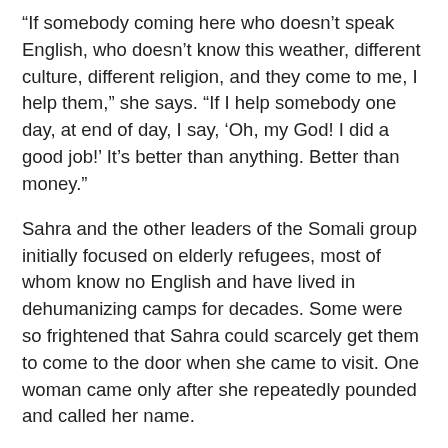“If somebody coming here who doesn’t speak English, who doesn’t know this weather, different culture, different religion, and they come to me, I help them,” she says. “If I help somebody one day, at end of day, I say, ‘Oh, my God! I did a good job!’ It’s better than anything. Better than money.”
Sahra and the other leaders of the Somali group initially focused on elderly refugees, most of whom know no English and have lived in dehumanizing camps for decades. Some were so frightened that Sahra could scarcely get them to come to the door when she came to visit. One woman came only after she repeatedly pounded and called her name.
“She say, ‘I’m scared. I’m in bed all day,’” says Sahra. “‘I don’t know English and I don’t know who knock the door. I’m scared; that’s why I didn’t open. I’m sorry!’”